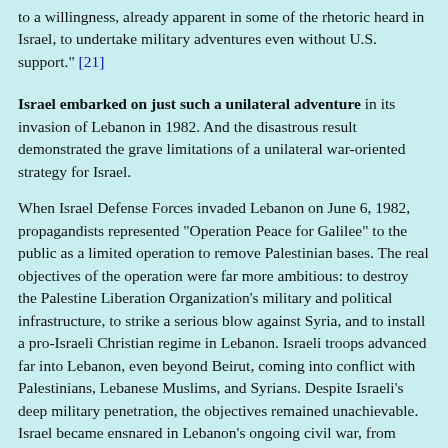to a willingness, already apparent in some of the rhetoric heard in Israel, to undertake military adventures even without U.S. support." [21]
Israel embarked on just such a unilateral adventure in its invasion of Lebanon in 1982. And the disastrous result demonstrated the grave limitations of a unilateral war-oriented strategy for Israel.
When Israel Defense Forces invaded Lebanon on June 6, 1982, propagandists represented "Operation Peace for Galilee" to the public as a limited operation to remove Palestinian bases. The real objectives of the operation were far more ambitious: to destroy the Palestine Liberation Organization's military and political infrastructure, to strike a serious blow against Syria, and to install a pro-Israeli Christian regime in Lebanon. Israeli troops advanced far into Lebanon, even beyond Beirut, coming into conflict with Palestinians, Lebanese Muslims, and Syrians. Despite Israeli's deep military penetration, the objectives remained unachievable. Israel became ensnared in Lebanon's ongoing civil war, from which it was unable to free itself for the next three years. [22]
Israeli's invasion of Lebanon was a
Israel's invasion of Lebanon, which caused well-publicized civilian casualties, including the massacre of Palestinians at